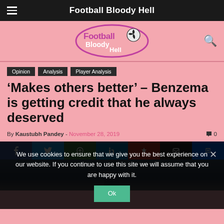Football Bloody Hell
[Figure (logo): Football Bloody Hell logo — stylized text with football graphic in pink and purple]
Opinion
Analysis
Player Analysis
'Makes others better' – Benzema is getting credit that he always deserved
By Kaustubh Pandey - November 28, 2019  0
We use cookies to ensure that we give you the best experience on our website. If you continue to use this site we will assume that you are happy with it.
[Figure (photo): Partial photo of a person at the bottom of the page, partially obscured by cookie consent overlay]